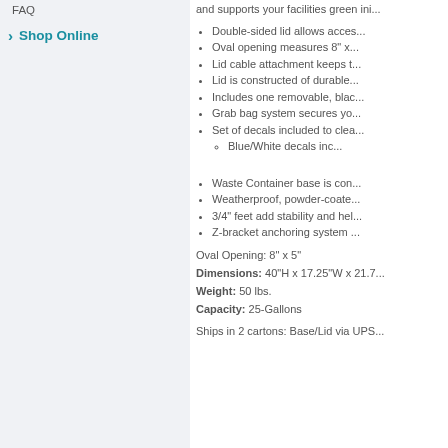FAQ
Shop Online
and supports your facilities green ini...
Double-sided lid allows acces...
Oval opening measures 8" x ...
Lid cable attachment keeps t...
Lid is constructed of durable...
Includes one removable, blac...
Grab bag system secures yo...
Set of decals included to clea...
Blue/White decals inc...
Waste Container base is con...
Weatherproof, powder-coate...
3/4" feet add stability and hel...
Z-bracket anchoring system ...
Oval Opening: 8" x 5"
Dimensions: 40"H x 17.25"W x 21.7...
Weight: 50 lbs.
Capacity: 25-Gallons
Ships in 2 cartons: Base/Lid via UPS...